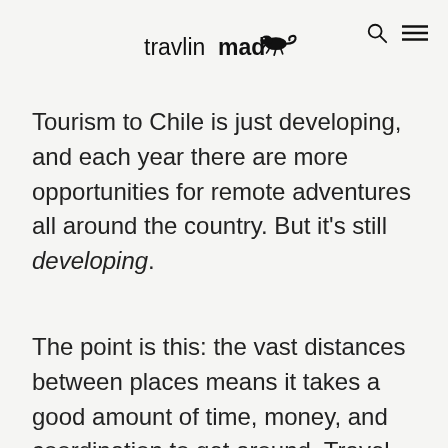travlinmad
Tourism to Chile is just developing, and each year there are more opportunities for remote adventures all around the country. But it's still developing.
The point is this: the vast distances between places means it takes a good amount of time, money, and coordination to get around. Travel to Patagonia isn't